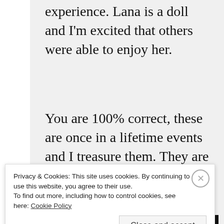experience. Lana is a doll and I'm excited that others were able to enjoy her.
You are 100% correct, these are once in a lifetime events and I treasure them. They are so special.
Last night you might have seen a woman dressed as an Indian who was taking
Privacy & Cookies: This site uses cookies. By continuing to use this website, you agree to their use.
To find out more, including how to control cookies, see here: Cookie Policy